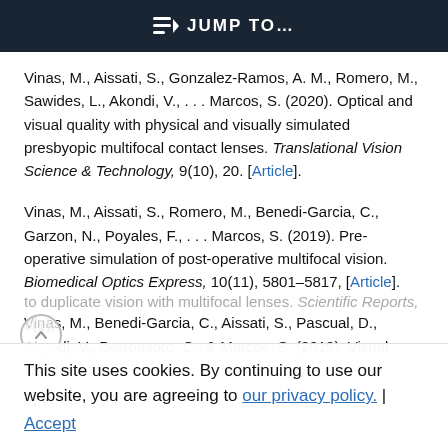JUMP TO…
Vinas, M., Aissati, S., Gonzalez-Ramos, A. M., Romero, M., Sawides, L., Akondi, V., . . . Marcos, S. (2020). Optical and visual quality with physical and visually simulated presbyopic multifocal contact lenses. Translational Vision Science & Technology, 9(10), 20. [Article].
Vinas, M., Aissati, S., Romero, M., Benedi-Garcia, C., Garzon, N., Poyales, F., . . . Marcos, S. (2019). Pre-operative simulation of post-operative multifocal vision. Biomedical Optics Express, 10(11), 5801–5817, [Article].
Vinas, M., Benedi-Garcia, C., Aissati, S., Pascual, D., Akondi, V., Dorronsoro, C., & Marcos, S. (2019). Visual simulators to duplicate vision with multifocal lenses. Scientific Reports, 9(1), 1–10. [Article].
Vinas, M., Dorronsoro, C., Cortes, D., Pascual, D., & Marcos,
This site uses cookies. By continuing to use our website, you are agreeing to our privacy policy. | Accept